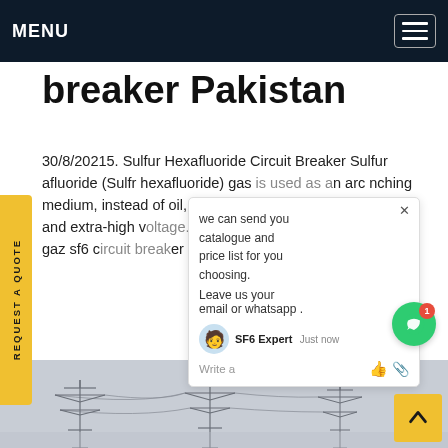MENU
breaker Pakistan
30/8/20215. Sulfur Hexafluoride Circuit Breaker Sulfur afluoride (Sulfr hexafluoride) gas is used as an arc nching medium, instead of oil, air, and vacuum. It ves high voltage and extra-high voltage. Based on working principles, the gaz sf6 circuit breaker is mmonly dividedGet price
[Figure (screenshot): Chat popup overlay with agent avatar, message about catalogue and price list, SF6 Expert agent name, just now timestamp, and write/emoji/attachment icons]
[Figure (photo): Grayscale photograph of power transmission line towers against a hazy sky]
[Figure (other): Yellow back-to-top arrow button in bottom right corner]